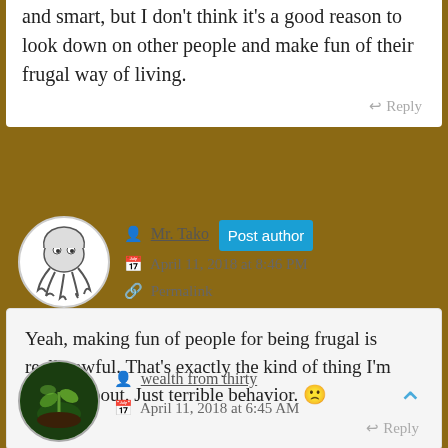and smart, but I don't think it's a good reason to look down on other people and make fun of their frugal way of living.
Reply
Mr. Tako Post author
April 11, 2018 at 8:46 PM
Permalink
Yeah, making fun of people for being frugal is really awful. That's exactly the kind of thing I'm talking about. Just terrible behavior. 🙁
Reply
wealth from thirty
April 11, 2018 at 6:45 AM
Permalink